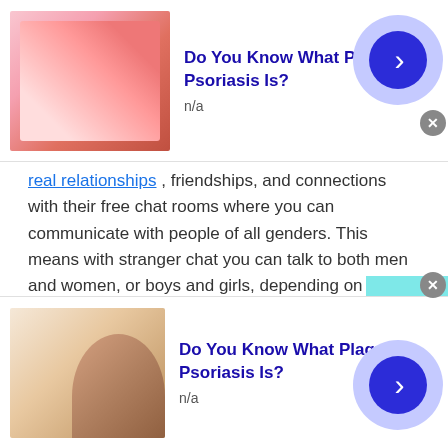[Figure (infographic): Top advertisement banner: image of skin condition on left, bold blue title 'Do You Know What Plaque Psoriasis Is?', 'n/a' text, blue circular arrow button on right with close X button]
real relationships , friendships, and connections with their free chat rooms where you can communicate with people of all genders. This means with stranger chat you can talk to both men and women, or boys and girls, depending on whoever you are comfortable with.
Why Talkwithstranger is the Best Platform for American International Chat
American International Chat , in fact, stranger chat in
[Figure (infographic): Bottom advertisement banner: image of skin/mole on hand on left, bold blue title 'Do You Know What Plaque Psoriasis Is?', 'n/a' text, blue circular arrow button on right with close X button at top right]